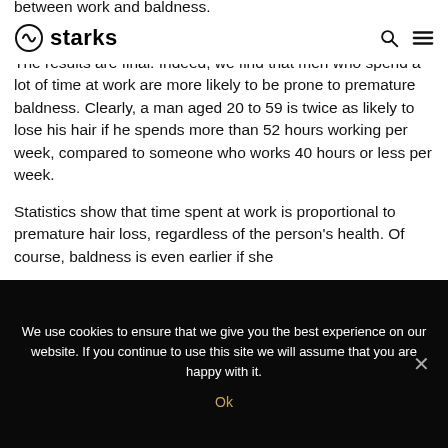starks
The results are final. Indeed, we find that men who spend a lot of time at work are more likely to be prone to premature baldness. Clearly, a man aged 20 to 59 is twice as likely to lose his hair if he spends more than 52 hours working per week, compared to someone who works 40 hours or less per week.
Statistics show that time spent at work is proportional to premature hair loss, regardless of the person's health. Of course, baldness is even earlier if she
We use cookies to ensure that we give you the best experience on our website. If you continue to use this site we will assume that you are happy with it.
Ok